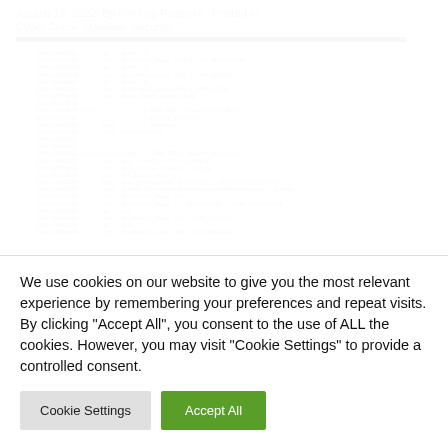August 15, 2022  By Pierluigi Paganini  Posted In
Cyber Crime  Malware  Security
[Figure (screenshot): Assembly/disassembly code listing showing malware analysis, with addresses, opcodes, and comments about country code checking and malware_main function]
We use cookies on our website to give you the most relevant experience by remembering your preferences and repeat visits. By clicking “Accept All”, you consent to the use of ALL the cookies. However, you may visit "Cookie Settings" to provide a controlled consent.